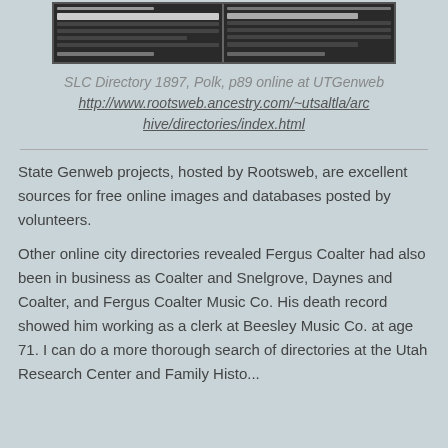[Figure (photo): Scanned newspaper clipping showing two columns of old newspaper text, black and white, appears to be from an old city directory or advertisement page.]
SLC Directory 1897, Polk, p89 online at UTGenweb
http://www.rootsweb.ancestry.com/~utsaltla/archive/directories/index.html
State Genweb projects, hosted by Rootsweb, are excellent sources for free online images and databases posted by volunteers.
Other online city directories revealed Fergus Coalter had also been in business as Coalter and Snelgrove, Daynes and Coalter, and Fergus Coalter Music Co. His death record showed him working as a clerk at Beesley Music Co. at age 71. I can do a more thorough search of directories at the Utah Research Center and Family History lib...